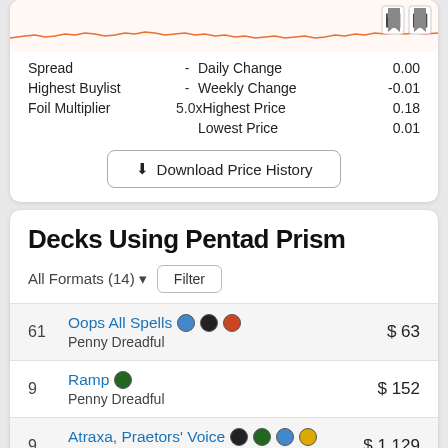[Figure (continuous-plot): Orange line chart showing price history over time with two bookmark/pin icons on the right side of the chart area]
| Label | Symbol | Key | Value |
| --- | --- | --- | --- |
| Spread | - | Daily Change | 0.00 |
| Highest Buylist | - | Weekly Change | -0.01 |
| Foil Multiplier | 5.0x | Highest Price | 0.18 |
|  |  | Lowest Price | 0.01 |
Download Price History
Decks Using Pentad Prism
All Formats (14)   Filter
61  Oops All Spells [mana symbols]  Penny Dreadful  $63
9  Ramp [mana symbol]  Penny Dreadful  $152
9  Atraxa, Praetors' Voice [mana symbols]  Commander  $1,129